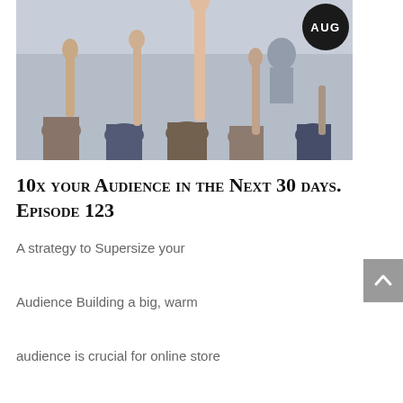[Figure (photo): Crowd of people in an audience with hands raised, viewed from behind. A presenter or speaker is visible at the front. Photo taken in a seminar or classroom setting.]
10x your Audience in the Next 30 days. Episode 123
A strategy to Supersize your Audience Building a big, warm audience is crucial for online store owners like us.In fact, it's more important now than ever before. As